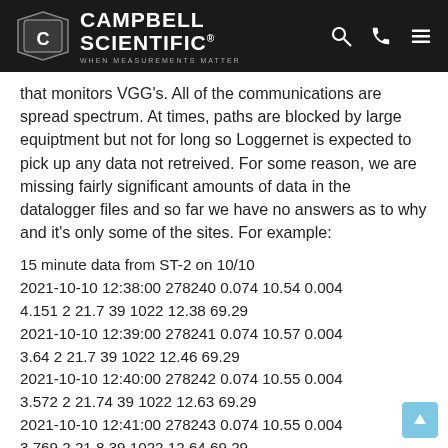Campbell Scientific — WHEN MEASUREMENTS MATTER
that monitors VGG's. All of the communications are spread spectrum. At times, paths are blocked by large equiptment but not for long so Loggernet is expected to pick up any data not retreived. For some reason, we are missing fairly significant amounts of data in the datalogger files and so far we have no answers as to why and it's only some of the sites. For example:
15 minute data from ST-2 on 10/10
2021-10-10 12:38:00 278240 0.074 10.54 0.004 4.151 2 21.7 39 1022 12.38 69.29
2021-10-10 12:39:00 278241 0.074 10.57 0.004 3.64 2 21.7 39 1022 12.46 69.29
2021-10-10 12:40:00 278242 0.074 10.55 0.004 3.572 2 21.74 39 1022 12.63 69.29
2021-10-10 12:41:00 278243 0.074 10.55 0.004 3.769 2 21.8 39 1022 12.64 69.29